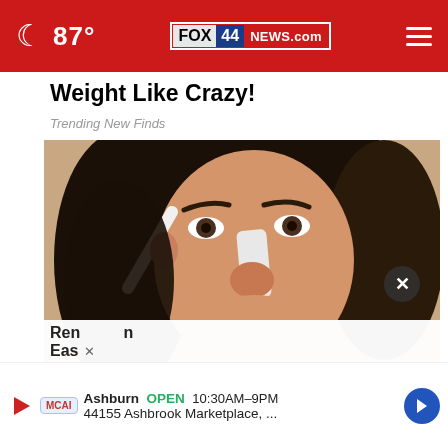87° FOX 44 NEWS.com
Weight Like Crazy!
Trending New Finds
[Figure (photo): Close-up photo of a woman with dark hair applying a white strip or brush to her nose area]
Ren... n Eas... X
Ashburn OPEN 10:30AM–9PM 44155 Ashbrook Marketplace, ...